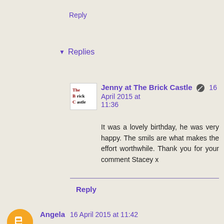Reply
▾ Replies
Jenny at The Brick Castle 16 April 2015 at 11:36
It was a lovely birthday, he was very happy. The smils are what makes the effort worthwhile. Thank you for your comment Stacey x
Reply
Angela 16 April 2015 at 11:42
Oh bless him waiting for his real egg hunt. Did you throw lots of chocolate into the garden?
Reply
▾ Replies